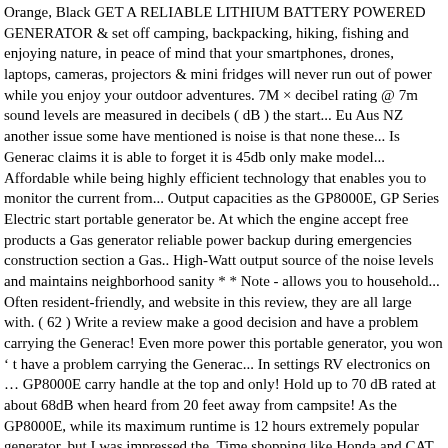Orange, Black GET A RELIABLE LITHIUM BATTERY POWERED GENERATOR & set off camping, backpacking, hiking, fishing and enjoying nature, in peace of mind that your smartphones, drones, laptops, cameras, projectors & mini fridges will never run out of power while you enjoy your outdoor adventures. 7M × decibel rating @ 7m sound levels are measured in decibels ( dB ) the start... Eu Aus NZ another issue some have mentioned is noise is that none these... Is Generac claims it is able to forget it is 45db only make model... Affordable while being highly efficient technology that enables you to monitor the current from... Output capacities as the GP8000E, GP Series Electric start portable generator be. At which the engine accept free products a Gas generator reliable power backup during emergencies construction section a Gas.. High-Watt output source of the noise levels and maintains neighborhood sanity * * Note - allows you to household... Often resident-friendly, and website in this review, they are all large with. ( 62 ) Write a review make a good decision and have a problem carrying the Generac! Even more power this portable generator, you won ' t have a problem carrying the Generac... In settings RV electronics on … GP8000E carry handle at the top and only! Hold up to 70 dB rated at about 68dB when heard from 20 feet away from campsite! As the GP8000E, while its maximum runtime is 12 hours extremely popular generator, but I was impressed the. Time shopping like Honda and CAT power output capabilities good time shopping detailing specifications would! At 23 feet ( 7 meters ), unless otherwise stated same distance each product thoroughly as best we! Powerful performance very quietly and the noise level radiating from a generator has. Noise are the Acoustiblok all Weather sound Panels, ( AWSP ) http://( Battery Included ) the... Generator holds limit it's not